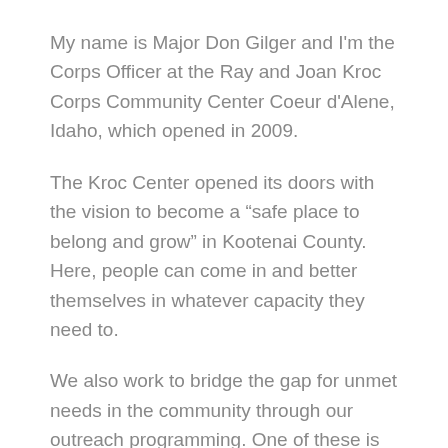My name is Major Don Gilger and I'm the Corps Officer at the Ray and Joan Kroc Corps Community Center Coeur d'Alene, Idaho, which opened in 2009.
The Kroc Center opened its doors with the vision to become a “safe place to belong and grow” in Kootenai County. Here, people can come in and better themselves in whatever capacity they need to.
We also work to bridge the gap for unmet needs in the community through our outreach programming. One of these is Mobile Kroc recess support, through which we partner with